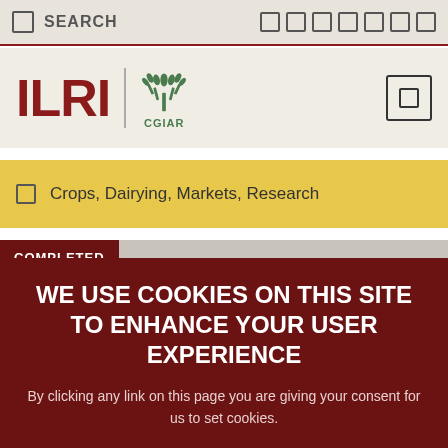SEARCH
[Figure (logo): ILRI CGIAR logo with wheat emblem]
Crops, Dairying, Markets, Research
COMPLETED
WE USE COOKIES ON THIS SITE TO ENHANCE YOUR USER EXPERIENCE
By clicking any link on this page you are giving your consent for us to set cookies.
OK, I AGREE | NO, THANKS | NO, GIVE ME MORE INFO